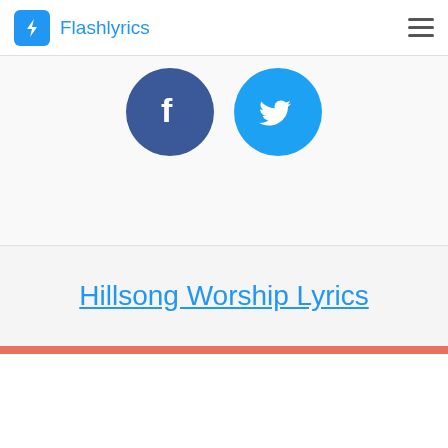Flashlyrics
[Figure (illustration): Facebook and Twitter social share buttons as large circular icons — dark blue circle with white 'f' for Facebook, light blue circle with white bird for Twitter]
Hillsong Worship Lyrics
[Figure (other): Red horizontal divider line below Hillsong Worship Lyrics link]